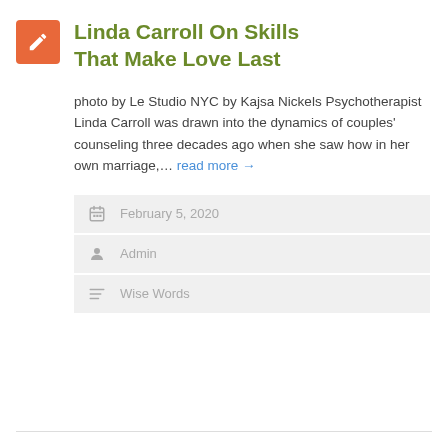Linda Carroll On Skills That Make Love Last
photo by Le Studio NYC by Kajsa Nickels Psychotherapist Linda Carroll was drawn into the dynamics of couples' counseling three decades ago when she saw how in her own marriage,… read more →
February 5, 2020
Admin
Wise Words